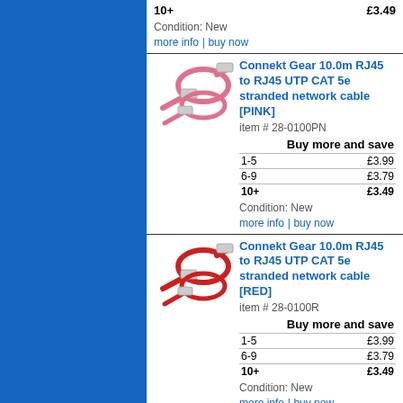10+   £3.49
Condition: New
more info | buy now
[Figure (photo): Pink RJ45 network cable coiled with connector ends visible]
Connekt Gear 10.0m RJ45 to RJ45 UTP CAT 5e stranded network cable [PINK]
item # 28-0100PN
Buy more and save
1-5  £3.99
6-9  £3.79
10+  £3.49
Condition: New
more info | buy now
[Figure (photo): Red RJ45 network cable coiled with connector ends visible]
Connekt Gear 10.0m RJ45 to RJ45 UTP CAT 5e stranded network cable [RED]
item # 28-0100R
Buy more and save
1-5  £3.99
6-9  £3.79
10+  £3.49
Condition: New
more info | buy now
[Figure (photo): Yellow RJ45 network cable with connector end visible]
Connekt Gear 10.0m RJ45 to RJ45 UTP CAT 5e stranded network cable [YELLOW]